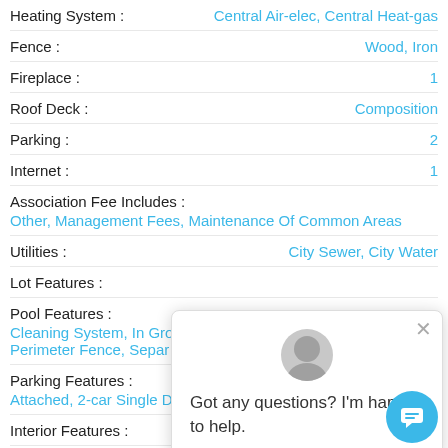Heating System : Central Air-elec, Central Heat-gas
Fence : Wood, Iron
Fireplace : 1
Roof Deck : Composition
Parking : 2
Internet : 1
Association Fee Includes : Other, Management Fees, Maintenance Of Common Areas
Utilities : City Sewer, City Water
Lot Features :
Pool Features : Cleaning System, In Gro... Perimeter Fence, Separ...
Parking Features : Attached, 2-car Single Doors, Garage Door Opener,
Interior Features : Window Covering
[Figure (screenshot): Chat popup with agent avatar and message 'Got any questions? I'm happy to help.' and a teal chat FAB button]